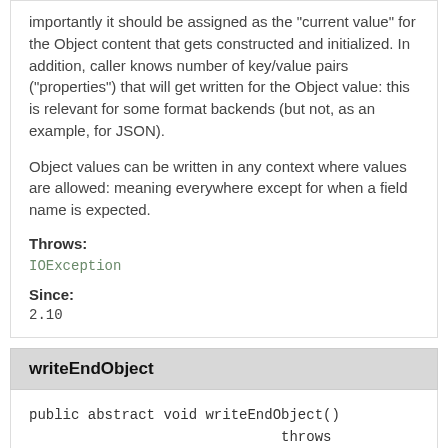importantly it should be assigned as the "current value" for the Object content that gets constructed and initialized. In addition, caller knows number of key/value pairs ("properties") that will get written for the Object value: this is relevant for some format backends (but not, as an example, for JSON).
Object values can be written in any context where values are allowed: meaning everywhere except for when a field name is expected.
Throws:
IOException
Since:
2.10
writeEndObject
public abstract void writeEndObject()
                              throws IOException